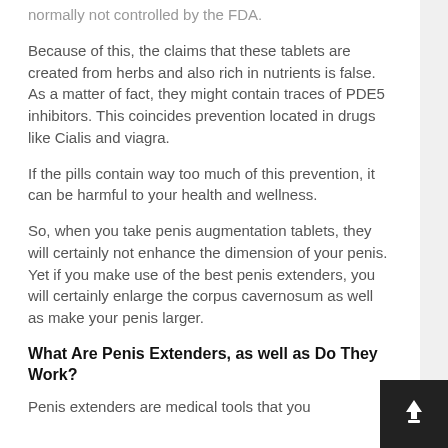normally not controlled by the FDA.
Because of this, the claims that these tablets are created from herbs and also rich in nutrients is false. As a matter of fact, they might contain traces of PDE5 inhibitors. This coincides prevention located in drugs like Cialis and viagra.
If the pills contain way too much of this prevention, it can be harmful to your health and wellness.
So, when you take penis augmentation tablets, they will certainly not enhance the dimension of your penis. Yet if you make use of the best penis extenders, you will certainly enlarge the corpus cavernosum as well as make your penis larger.
What Are Penis Extenders, as well as Do They Work?
Penis extenders are medical tools that you